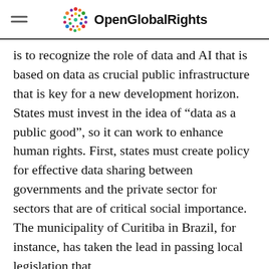OpenGlobalRights
is to recognize the role of data and AI that is based on data as crucial public infrastructure that is key for a new development horizon.  States must invest in the idea of “data as a public good”, so it can work to enhance human rights. First, states must create policy for effective data sharing between governments and the private sector for sectors that are of critical social importance. The municipality of Curitiba in Brazil, for instance, has taken the lead in passing local legislation that